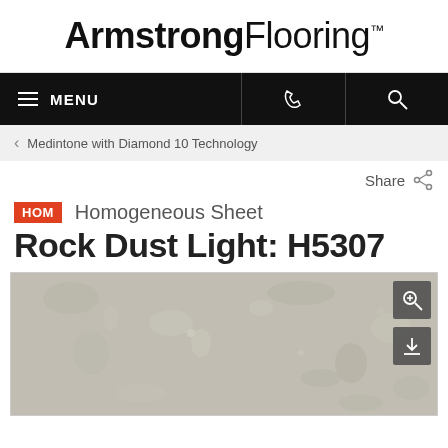ArmstrongFlooring™
≡ MENU  [phone icon]  [search icon]
< Medintone with Diamond 10 Technology
Share
HOM  Homogeneous Sheet
Rock Dust Light: H5307
[Figure (photo): Close-up photo of Rock Dust Light H5307 flooring material showing a light gray/beige homogeneous sheet texture with subtle mottled pattern]